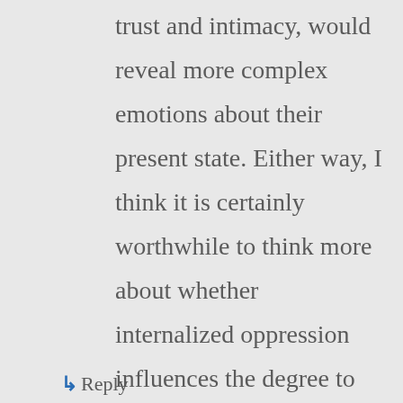trust and intimacy, would reveal more complex emotions about their present state. Either way, I think it is certainly worthwhile to think more about whether internalized oppression influences the degree to which women project socially acceptable forms of self-evaluation, as you suggest.
↳ Reply